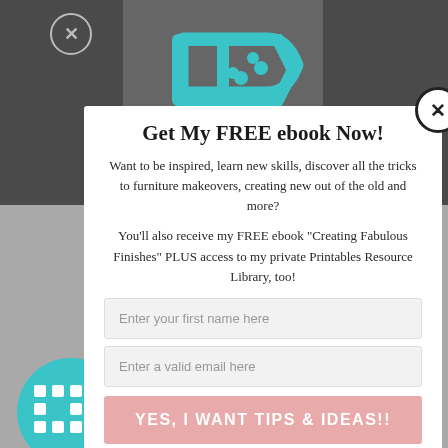[Figure (screenshot): Dark background webpage with a play icon visible at the top center, a circular logo at bottom left, and blurred text content]
Get My FREE ebook Now!
Want to be inspired, learn new skills, discover all the tricks to furniture makeovers, creating new out of the old and more?
You'll also receive my FREE ebook "Creating Fabulous Finishes" PLUS access to my private Printables Resource Library, too!
Enter your first name here
Enter a valid email here
YES, I WANT TIPS & IDEAS!!
Sign up to get the Weekly Newsletter! Our emails include an unsubscribe link and you may opt-out at any time. Your information will *never* be shared or sold to a 3rd party.